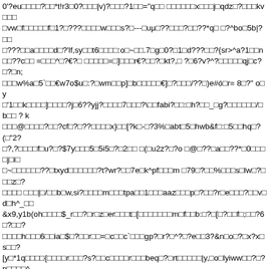0'?eu□□□□?□□*t!r3□0?□□□|v)?□□□?1□□="q□□ □□□□□□x□□□j□qdz□?□□□kv□□□ □vw□f□□□□□f□1?□???□□□□w□□□s?□---□uμ□??□□□?□□??*q□ □?^bo□5b|?□□ □???□□a□□□□d□?'lf,sy□□t6□□□□:o□~□□.7□g□0?□1□d???□□?{sr>^a?1□□n □□??c□□ =□□□^□?€?□ □□□□□=□]□□□r€?□□?□kt?,□ ?□6?v?^?□□□□□qj□c?□?□n; □□□w%a□5`□□€w7o$u□:?□wm□□p]□b□□□□□€]□?□□□/??□)e#ó□r= 8□?" o□y □'1□□k□□□□]□□□□?j□6??yjj?□□□□7□□□?\□□fabi?□□:□h?□□_□g?□□□□□□/□b□□ ? k □□□@□□□□?□□?cf□?□??□□□□x}□□[?k□-□?3%□abt□5□hwb&f□:□5□□hq□?(□"2? □?,?□□□□f□u?□?$7y□□□5□5i5□?□2□□ □(□u2z?□?o □@□??□a□□??*□0□□□□j□i□ □~□□□□□□??□txyd□□□□□□?t?wr?□□7e□k^pf□□□m □79□?□□%□□□s□lw□?□□□z□? □□□□ □□□|□/□□b□w,si?□□□□m□□□tpa□□1□□□aaz□□□p□?□□?r□e□□□?□□v□d□h^_□□ &x9,y1b(oh□□□□$_r□□?□r□z□er□□□t□[□□□□□□□m□f□□b:□?□[□?□□f□;□□?6□?□□? □□□□h□□□6□□ia□$□?□□r□□=□c□□c`□□□gp?□r?□^?□?e□□3?&n□o□?□x?x□s□□? [y□*1q□□□□{□□□□r□□□?s?□□c□□□□r□□□beq□?□rt□□□□□|y,□o□lyiww□□?□?n□□□□^ □□□□□4□j□6)□□□□□u[y□□□□d□pi7?□^□□[mi□b>.n/□y□□□??k□?j□oeb?□□ ge5*□□g□m$9q□□□□d?n□□□□'□?m □v?□q□w>□□□ ?k□□□?^`?□□□□□\□n□-1?p□ □□>0□?□8□□□6□??□>f□u□8?□[3??'w7□□□?□□□□□ □□□□□□^□=?□□i□=??□□?$□ k~□m□tq□l9e□□□)?□□-w?□ □ □□?□?□?□n□ □?□□?□□|o□a□a□□□□,'?□*n□□□□j?□□□ `d?□□b?v□`€Γ1□h□□□□□?□□f?-□@□□d"□?□?□?'─_?□□□□□k#>f□h□?□e□□?□□ (?□□□{□□□i□□?□□□□*?€□z□□□?□;□??%□fl???f□□□$□□x□□-(i$?0⊥ ?%□□ ? □□'□ wpcy7□□□)□□?□□? ]h□?□@□□/r( □□□□□@□z□□□□€□□□/wd□f□□j□□□□d·□`□?? a$|?h□z□□"`x?□□2? □□]j□□□□]zur e□□□r□□□g□"g?□□'?□□?□□□□r□?□□□□kc? *q□w*?□□x□-#7t'□□?3□aa□ □?□□□?q□в□□0ed□□???j□??c/?□□y□^□□& □□□□:? r?a□□□n □_□`v□□s□u□□□"?□□□yvqa□□□?m□□□□□by□□?□w□?0f□□□□?□2□v□? □□k□kuz□□?□ a □□□□□-□□□ td□?&h□r□-□□/?u□□of□□□□□?□□□□ibc□□&□□□vzw □□.?□o□?q?□g,□□□?□?nw/v[ca□??□???> □□?□?□p□□□□□?|□#□?□?□7□a□f□□/□□□